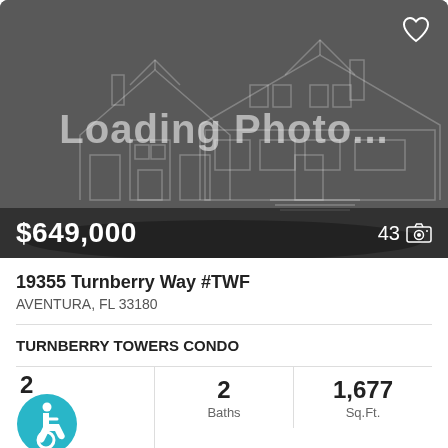[Figure (photo): Loading photo placeholder showing a house outline illustration in dark gray with 'Loading Photo...' text overlay. Price $649,000 shown at bottom left, '43' with camera icon at bottom right. Heart icon at top right.]
19355 Turnberry Way #TWF
AVENTURA, FL 33180
TURNBERRY TOWERS CONDO
2 Baths
1,677 Sq.Ft.
MLS #: A11219190